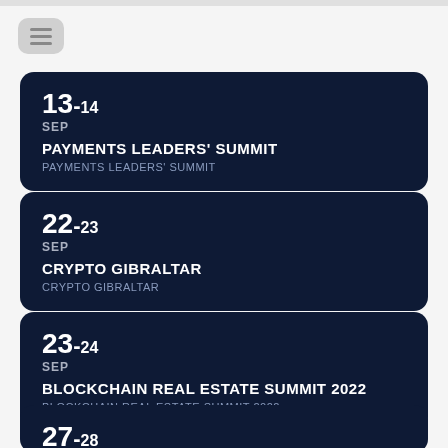[Figure (infographic): Menu/filter button icon with three horizontal lines]
13-14 SEP
PAYMENTS LEADERS' SUMMIT
PAYMENTS LEADERS' SUMMIT
22-23 SEP
CRYPTO GIBRALTAR
CRYPTO GIBRALTAR
23-24 SEP
BLOCKCHAIN REAL ESTATE SUMMIT 2022
BLOCKCHAIN REAL ESTATE SUMMIT 2022
27-28 SEP